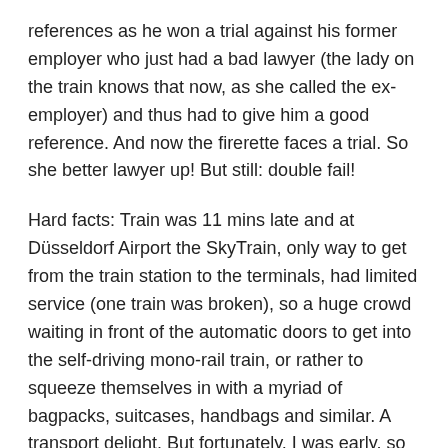references as he won a trial against his former employer who just had a bad lawyer (the lady on the train knows that now, as she called the ex-employer) and thus had to give him a good reference. And now the firerette faces a trial. So she better lawyer up! But still: double fail!
Hard facts: Train was 11 mins late and at Düsseldorf Airport the SkyTrain, only way to get from the train station to the terminals, had limited service (one train was broken), so a huge crowd waiting in front of the automatic doors to get into the self-driving mono-rail train, or rather to squeeze themselves in with a myriad of bagpacks, suitcases, handbags and similar. A transport delight. But fortunately, I was early, so no issue for me this time (the older you get, the wiser you become).